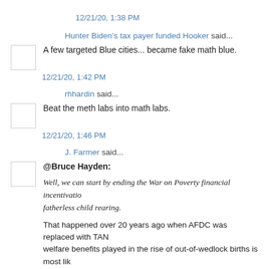12/21/20, 1:38 PM
Hunter Biden's tax payer funded Hooker said...
A few targeted Blue cities... became fake math blue.
12/21/20, 1:42 PM
rhhardin said...
Beat the meth labs into math labs.
12/21/20, 1:46 PM
J. Farmer said...
@Bruce Hayden:
Well, we can start by ending the War on Poverty financial incentivatio fatherless child rearing.
That happened over 20 years ago when AFDC was replaced with TAN welfare benefits played in the rise of out-of-wedlock births is most lik